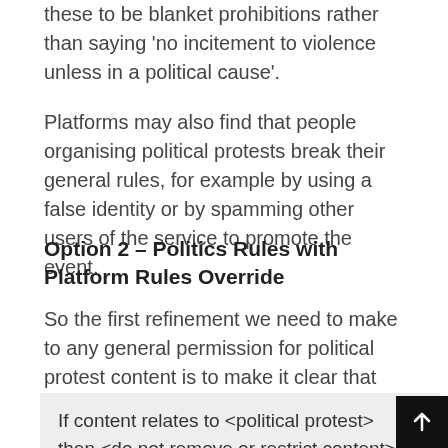these to be blanket prohibitions rather than saying 'no incitement to violence unless in a political cause'.
Platforms may also find that people organising political protests break their general rules, for example by using a false identity or by spamming other users of the service to promote the event.
Option 2 – Politics Rules with Platform Rules Override
So the first refinement we need to make to any general permission for political protest content is to make it clear that the platform's own rules may sometimes impose limitations :-
If content relates to <political protest> then <do not remove or restrict content> unless <group behind protest is prohibited>